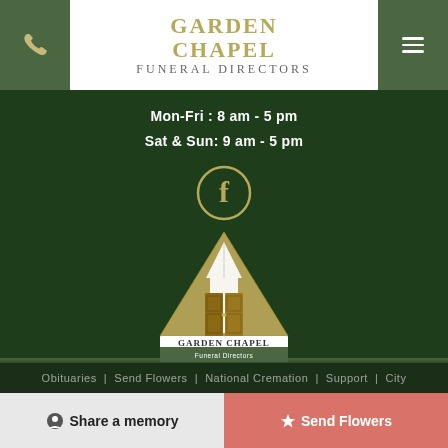[Figure (logo): Garden Chapel Funeral Directors logo with phone icon and hamburger menu on dark green header bar]
Mon-Fri : 8 am - 5 pm
Sat & Sun: 9 am - 5 pm
[Figure (logo): Facebook circle icon (f) in gold/tan on dark green background]
[Figure (logo): Garden Chapel Funeral Directors building illustration logo - triangular A-frame chapel shape with wooden door, on dark green background]
Obituaries | Send Flowers | National Cremation | Support
Share a memory
Send Flowers